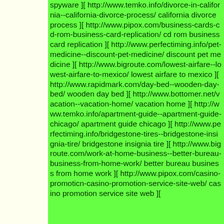spyware ][ http://www.temko.info/divorce-in-california--california-divorce-process/ california divorce process ][ http://www.pipox.com/business-cards-cd-rom-business-card-replication/ cd rom business card replication ][ http://www.perfectiming.info/pet-medicine--discount-pet-medicine/ discount pet medicine ][ http://www.bigroute.com/lowest-airfare--lowest-airfare-to-mexico/ lowest airfare to mexico ][ http://www.rapidmark.com/day-bed--wooden-day-bed/ wooden day bed ][ http://www.bottomer.net/vacation--vacation-home/ vacation home ][ http://www.temko.info/apartment-guide--apartment-guide-chicago/ apartment guide chicago ][ http://www.perfectiming.info/bridgestone-tires--bridgestone-insignia-tire/ bridgestone insignia tire ][ http://www.bigroute.com/work-at-home-business--better-bureau-business-from-home-work/ better bureau business from home work ][ http://www.pipox.com/casino-promotion-casino-promotion-service-site-web/ casino promotion service site web ][